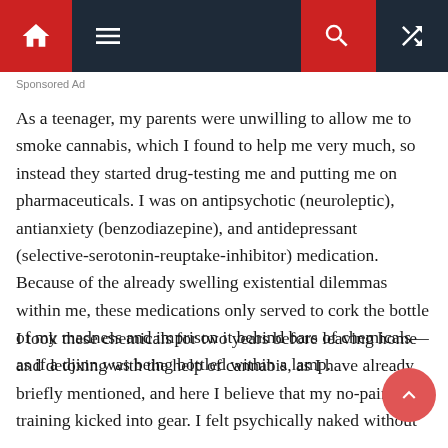Navigation bar with home, menu, search, and shuffle icons
Sponsored Ad
As a teenager, my parents were unwilling to allow me to smoke cannabis, which I found to help me very much, so instead they started drug-testing me and putting me on pharmaceuticals. I was on antipsychotic (neuroleptic), antianxiety (benzodiazepine), and antidepressant (selective-serotonin-reuptake-inhibitor) medication. Because of the already swelling existential dilemmas within me, these medications only served to cork the bottle of my madness and imprison it behind bars of chemicals—as if a djinn was being bottled within a lamp.
I took these chemicals for two years before leaving home and detoxing with the help of cannabis, as I have already briefly mentioned, and here I believe that my no-pain-gain training kicked into gear. I felt psychically naked without